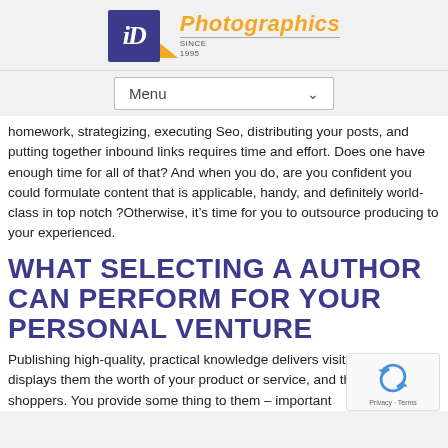[Figure (logo): iD Photographics Since 1995 logo with purple square and orange script text]
[Figure (screenshot): Menu dropdown button with chevron]
homework, strategizing, executing Seo, distributing your posts, and putting together inbound links requires time and effort. Does one have enough time for all of that? And when you do, are you confident you could formulate content that is applicable, handy, and definitely world-class in top notch ?Otherwise, it’s time for you to outsource producing to your experienced.
WHAT SELECTING A AUTHOR CAN PERFORM FOR YOUR PERSONAL VENTURE
Publishing high-quality, practical knowledge delivers visitors in page, displays them the worth of your product or service, and them into loyal shoppers. You provide some thing to them – important